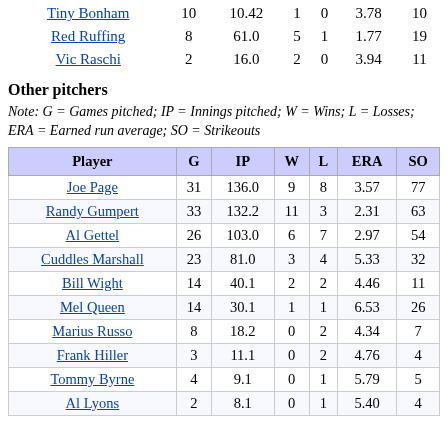| Player | G | IP | W | L | ERA | SO |
| --- | --- | --- | --- | --- | --- | --- |
| Tiny Bonham | 10 | 10.42 | 1 | 0 | 3.78 | 10 |
| Red Ruffing | 8 | 61.0 | 5 | 1 | 1.77 | 19 |
| Vic Raschi | 2 | 16.0 | 2 | 0 | 3.94 | 11 |
Other pitchers
Note: G = Games pitched; IP = Innings pitched; W = Wins; L = Losses; ERA = Earned run average; SO = Strikeouts
| Player | G | IP | W | L | ERA | SO |
| --- | --- | --- | --- | --- | --- | --- |
| Joe Page | 31 | 136.0 | 9 | 8 | 3.57 | 77 |
| Randy Gumpert | 33 | 132.2 | 11 | 3 | 2.31 | 63 |
| Al Gettel | 26 | 103.0 | 6 | 7 | 2.97 | 54 |
| Cuddles Marshall | 23 | 81.0 | 3 | 4 | 5.33 | 32 |
| Bill Wight | 14 | 40.1 | 2 | 2 | 4.46 | 11 |
| Mel Queen | 14 | 30.1 | 1 | 1 | 6.53 | 26 |
| Marius Russo | 8 | 18.2 | 0 | 2 | 4.34 | 7 |
| Frank Hiller | 3 | 11.1 | 0 | 2 | 4.76 | 4 |
| Tommy Byrne | 4 | 9.1 | 0 | 1 | 5.79 | 5 |
| Al Lyons | 2 | 8.1 | 0 | 1 | 5.40 | 4 |